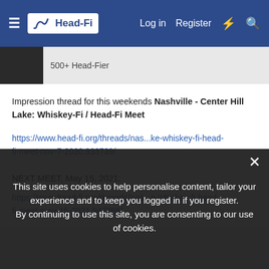Head-Fi | Log in | Register
500+ Head-Fier
Impression thread for this weekends Nashville - Center Hill Lake: Whiskey-Fi / Head-Fi Meet
https://www.head-fi.org/threads/nas...ke-whiskey-fi-head-fi-meet-nov-7-2020.933739/
NEXT MEET, May 15, 2021:
https://www.head-fi.org/threads/nas...e-whiskey-fi-head-fi-meet-may-15-2021.947386/
This site uses cookies to help personalise content, tailor your experience and to keep you logged in if you register. By continuing to use this site, you are consenting to our use of cookies.